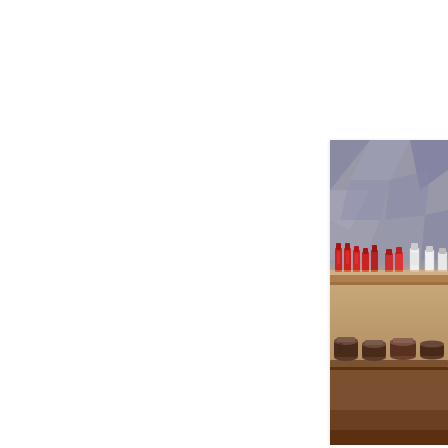If you are staying in t... you can have over a g... their full fridge of drink...
[Figure (photo): Photo of a hotel bar or minibar area showing wooden shelves with red-labeled bottles and jars, against a patterned background. Only the right portion of the image is visible, cropped at the page edge.]